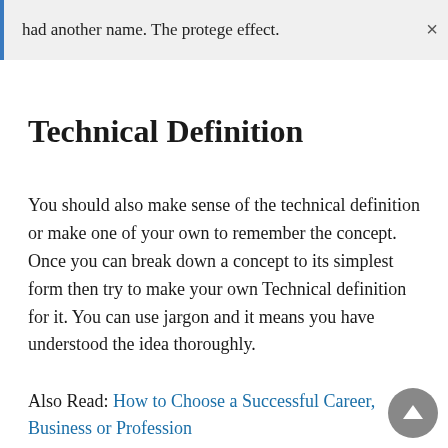had another name. The protege effect.
Technical Definition
You should also make sense of the technical definition or make one of your own to remember the concept. Once you can break down a concept to its simplest form then try to make your own Technical definition for it. You can use jargon and it means you have understood the idea thoroughly.
Also Read: How to Choose a Successful Career, Business or Profession